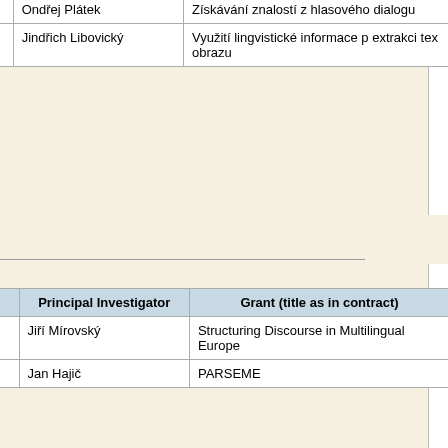| abbrev. | Principal Investigator | Grant (title as in contract) |
| --- | --- | --- |
|  | Ondřej Plátek | Získávání znalostí z hlasového dialogu |
|  | Jindřich Libovický | Využití lingvistické informace p extrakci tex obrazu |
2014
| abbrev. | Principal Investigator | Grant (title as in contract) |
| --- | --- | --- |
| TextLink | Jiří Mírovský | Structuring Discourse in Multilingual Europe |
| PARSEME | Jan Hajič | PARSEME |